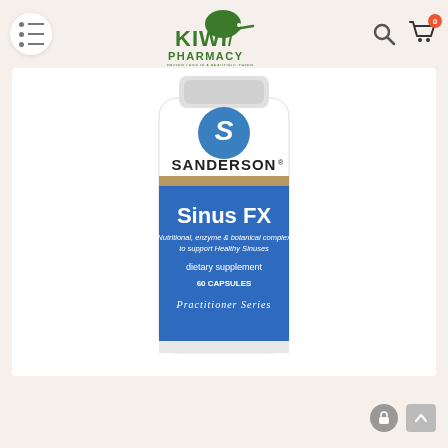Kiwi Pharmacy — navigation header with menu, logo, search and cart icons
[Figure (photo): Sanderson Sinus FX dietary supplement bottle — 60 capsules, Practitioner Series. White bottle with blue label. Label text: SANDERSON Sinus FX, Nutritional, enzyme & botanical complex to support Healthy Sinuses, dietary supplement, 60 CAPSULES, Practitioner Series.]